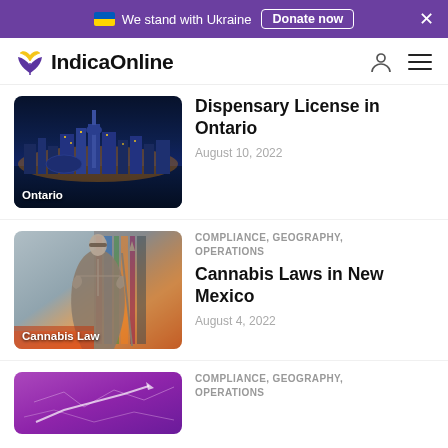🇺🇦 We stand with Ukraine  Donate now  ✕
[Figure (logo): IndicaOnline logo with cannabis leaf icon]
[Figure (photo): Ontario city skyline at night with label 'Ontario']
Dispensary License in Ontario
August 10, 2022
COMPLIANCE, GEOGRAPHY, OPERATIONS
[Figure (photo): Lady Justice statue with label 'Cannabis Law']
Cannabis Laws in New Mexico
August 4, 2022
COMPLIANCE, GEOGRAPHY, OPERATIONS
[Figure (photo): Purple map image (partially visible)]